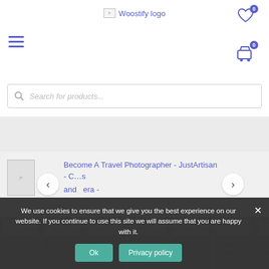Woostify logo
[Figure (screenshot): E-commerce website header with Woostify logo, hamburger menu, heart wishlist icon with badge 0, cart icon with badge 0, and search bar with placeholder 'Search for products...']
[Figure (screenshot): Product slider showing 'Become A Travel Photographer - JustArtisan - C...s and era -' with left and right navigation arrows]
[Figure (screenshot): Product strip row showing multiple product thumbnails each labeled 'To Become A Travel']
We use cookies to ensure that we give you the best experience on our website. If you continue to use this site we will assume that you are happy with it.
Ok  Privacy policy